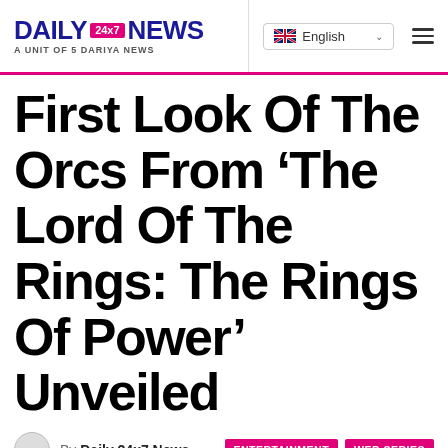DAILY 24x7 NEWS — A UNIT OF 5 DARIYA NEWS | English
First Look Of The Orcs From 'The Lord Of The Rings: The Rings Of Power' Unveiled
By Daily 24x7 News | ENTERTAINMENT | WEB SERIES
Published on Jun 22, 2022
Web Series, Entertainment, The Lord of the Rings: The Rings of Power, Mumbai
Share | Facebook | Twitter | Google+ | Reddit | WhatsApp | Pinterest | Email